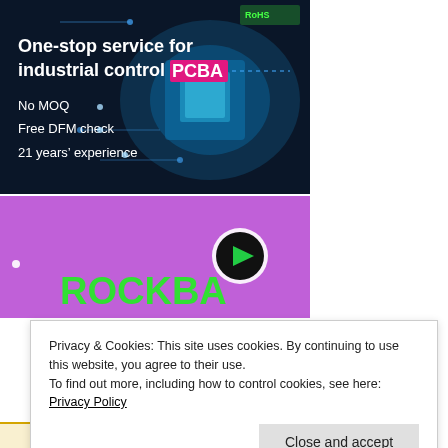[Figure (screenshot): Advertisement banner for PCBA service: dark background with circuit board imagery. Text reads 'One-stop service for industrial control PCBA', 'No MOQ', 'Free DFM check', '21 years' experience'. PCBA text has pink/magenta highlight box.]
[Figure (screenshot): Purple advertisement banner with partial text 'ROCKBA' visible in green/lime letters at the bottom, and a video play button icon (circular, black and white with green triangle) in the center-right area.]
Privacy & Cookies: This site uses cookies. By continuing to use this website, you agree to their use.
To find out more, including how to control cookies, see here: Privacy Policy
Close and accept